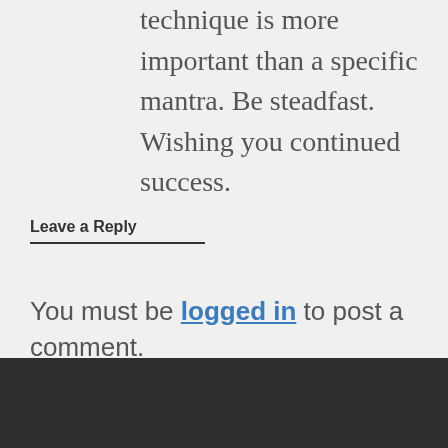technique is more important than a specific mantra. Be steadfast. Wishing you continued success.
Leave a Reply
You must be logged in to post a comment.
About